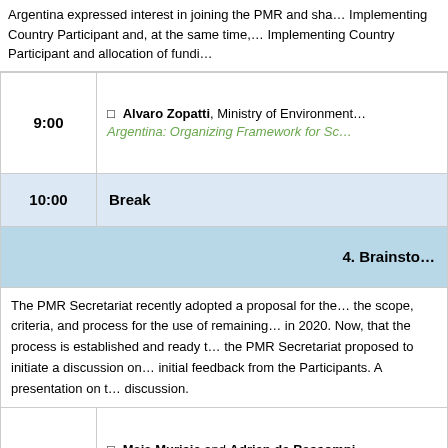Argentina expressed interest in joining the PMR and sha... Implementing Country Participant and, at the same time,... Implementing Country Participant and allocation of fundi...
| Time | Content |
| --- | --- |
| 9:00 | □ Alvaro Zopatti, Ministry of Environment...
Argentina: Organizing Framework for Sc... |
| 10:00 | Break |
|  | 4. Brainsto... |
|  | The PMR Secretariat recently adopted a proposal for the... the scope, criteria, and process for the use of remaining... in 2020. Now, that the process is established and ready t... the PMR Secretariat proposed to initiate a discussion on... initial feedback from the Participants. A presentation on t... discussion. |
| 10:30 | □ Maja Murisic and Adrien de Bassompi...
Reflections on the possible future of the P... |